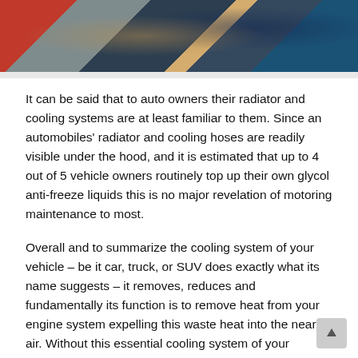[Figure (photo): Close-up photograph of an automobile engine bay showing a radiator, cooling hoses, and mechanical components with red, grey, and blue parts visible.]
It can be said that to auto owners their radiator and cooling systems are at least familiar to them. Since an automobiles' radiator and cooling hoses are readily visible under the hood, and it is estimated that up to 4 out of 5 vehicle owners routinely top up their own glycol anti-freeze liquids this is no major revelation of motoring maintenance to most.
Overall and to summarize the cooling system of your vehicle – be it car, truck, or SUV does exactly what its name suggests – it removes, reduces and fundamentally its function is to remove heat from your engine system expelling this waste heat into the nearby air. Without this essential cooling system of your “power-plant”, the heat built up from the exploding gasoline vapors (in a gas engine), would soon overheat and ultimately ruin your engine. Interestingly on the other hand, automotive cooling